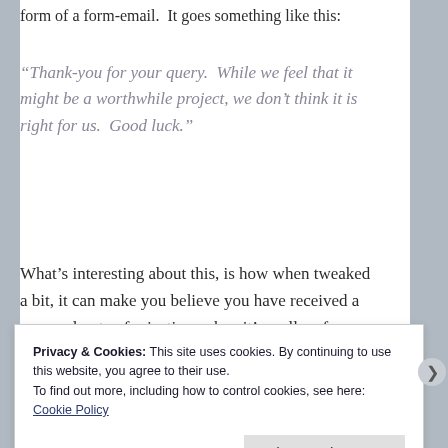form of a form-email.  It goes something like this:
“Thank-you for your query.  While we feel that it might be a worthwhile project, we don’t think it is right for us.  Good luck.”
What’s interesting about this, is how when tweaked a bit, it can make you believe you have received a personal note of rejection, when it’s really a form. But don’t kid yourself.
Privacy & Cookies: This site uses cookies. By continuing to use this website, you agree to their use.
To find out more, including how to control cookies, see here: Cookie Policy
Close and accept